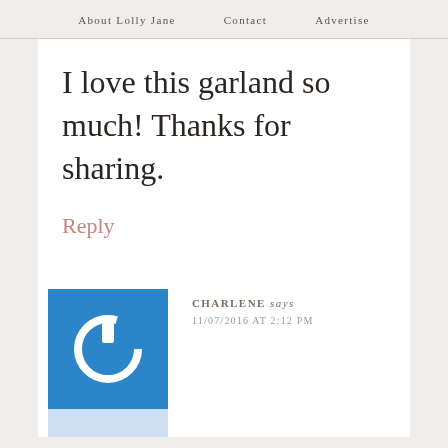About Lolly Jane   Contact   Advertise
I love this garland so much! Thanks for sharing.
Reply
CHARLENE says
11/07/2016 AT 2:12 PM